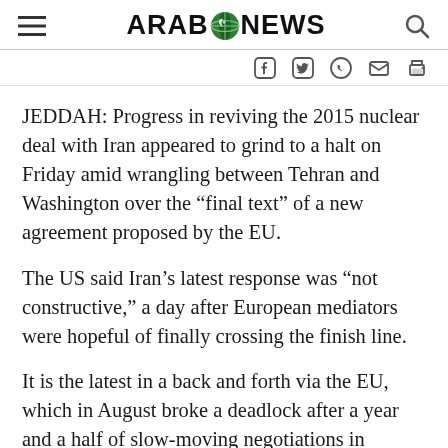ARAB NEWS
JEDDAH: Progress in reviving the 2015 nuclear deal with Iran appeared to grind to a halt on Friday amid wrangling between Tehran and Washington over the “final text” of a new agreement proposed by the EU.
The US said Iran’s latest response was “not constructive,” a day after European mediators were hopeful of finally crossing the finish line.
It is the latest in a back and forth via the EU, which in August broke a deadlock after a year and a half of slow-moving negotiations in Vienna.